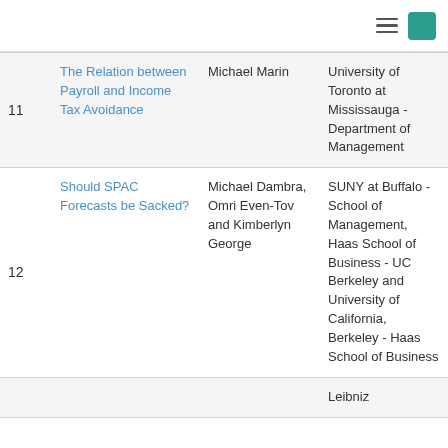| # | Title | Author(s) | Institution |
| --- | --- | --- | --- |
| 11 | The Relation between Payroll and Income Tax Avoidance | Michael Marin | University of Toronto at Mississauga - Department of Management |
| 12 | Should SPAC Forecasts be Sacked? | Michael Dambra, Omri Even-Tov and Kimberlyn George | SUNY at Buffalo - School of Management, Haas School of Business - UC Berkeley and University of California, Berkeley - Haas School of Business |
|  |  |  | Leibniz |